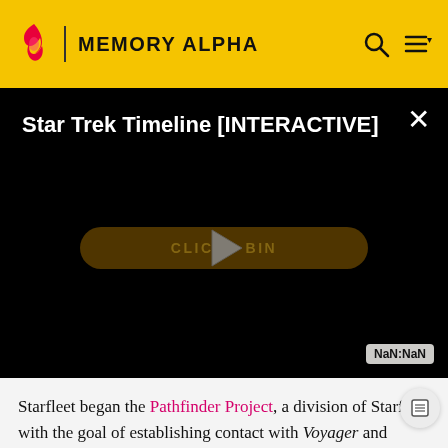MEMORY ALPHA
[Figure (screenshot): Video player showing 'Star Trek Timeline [INTERACTIVE]' with a play button and 'CLICK TO BEGIN' button overlay on black background. NaN:NaN timestamp shown in lower right.]
Starfleet began the Pathfinder Project, a division of Starfleet with the goal of establishing contact with Voyager and finding a way to bring the lost vessel home. The team was led by Commander Pete Harkins and overseen by Admiral Owen Paris, but the driving force